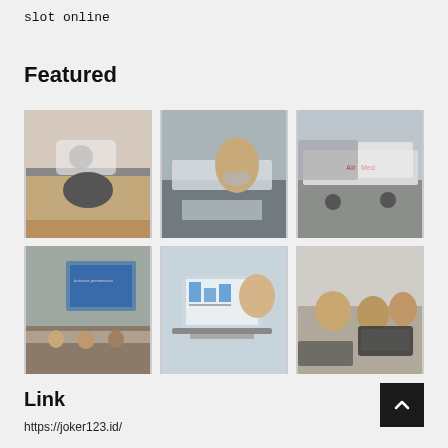slot online
Featured
[Figure (photo): Two people riding a scooter on a road]
[Figure (photo): Woman wearing a mask at an airport looking at planes]
[Figure (photo): Aircraft on tarmac with Air Med branding]
[Figure (photo): Business conference presentation with speakers at a table]
[Figure (photo): Person pointing at a computer screen showing charts]
[Figure (photo): Group of people in an office meeting, using laptops]
Link
https://joker123.id/